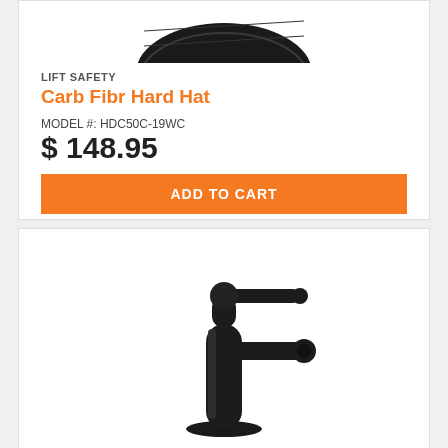[Figure (photo): Partial view of a carbon fiber hard hat product image at the top of the first product card]
LIFT SAFETY
Carb Fibr Hard Hat
MODEL #: HDC50C-19WC
$ 148.95
ADD TO CART
[Figure (photo): A matte black single-handle bathroom faucet product image on a white background]